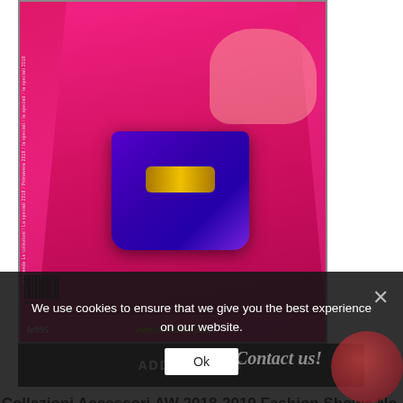[Figure (photo): Magazine cover of Collezioni Accessori AW 2018-2019 Fashion Shows No. 92, showing a model in a pink top holding a shiny purple fanny pack/waist bag against a dark background. The cover includes a barcode, the website www.collezioni.info, and a brand logo.]
ADD TO CART
Collezioni Accessori AW 2018-2019 Fashion Shows No. 92
$25.00
We use cookies to ensure that we give you the best experience on our website.
Ok